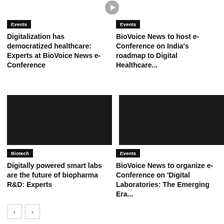[Figure (logo): Gray circular play/navigation icon at top center]
Events
Digitalization has democratized healthcare: Experts at BioVoice News e-Conference
Events
BioVoice News to host e-Conference on India's roadmap to Digital Healthcare...
[Figure (photo): Dark/black image placeholder for left article]
[Figure (photo): Dark/black image placeholder for right article]
Biotech
Digitally powered smart labs are the future of biopharma R&D: Experts
Events
BioVoice News to organize e-Conference on 'Digital Laboratories: The Emerging Era...